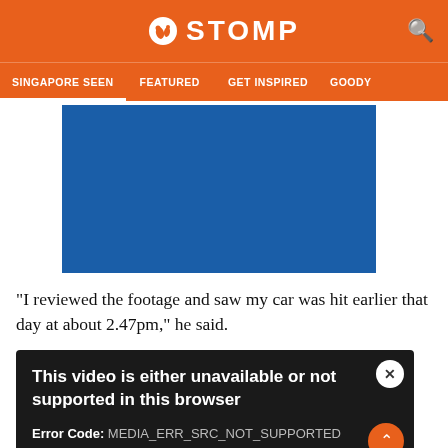STOMP
SINGAPORE SEEN | FEATURED | GET INSPIRED | GOODY
[Figure (other): Blue rectangle placeholder for a video or image on the Stomp website]
"I reviewed the footage and saw my car was hit earlier that day at about 2.47pm," he said.
[Figure (screenshot): Video player error overlay on dark background showing: 'This video is either unavailable or not supported in this browser' with Error Code: MEDIA_ERR_SRC_NOT_SUPPORTED and Session ID: 2022-08-30:15e38ccef116f5b3cc08e051 Player Element ID:]